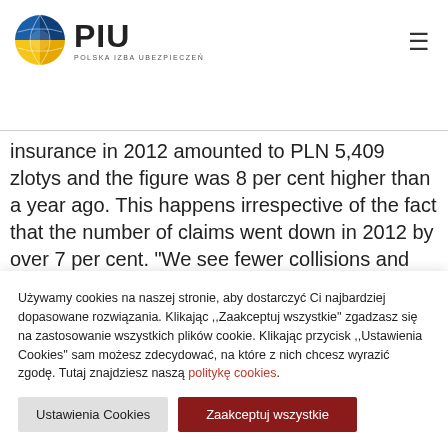PIU - Polska Izba Ubezpieczeń
insurance in 2012 amounted to PLN 5,409 zlotys and the figure was 8 per cent higher than a year ago. This happens irrespective of the fact that the number of claims went down in 2012 by over 7 per cent. "We see fewer collisions and accidents reported to insurers, but the average indemnities and benefits are on the increase, and thus the insurers' obligations resulting from liability insurance are on the increase."
Używamy cookies na naszej stronie, aby dostarczyć Ci najbardziej dopasowane rozwiązania. Klikając ,,Zaakceptuj wszystkie'' zgadzasz się na zastosowanie wszystkich plików cookie. Klikając przycisk ,,Ustawienia Cookies'' sam możesz zdecydować, na które z nich chcesz wyrazić zgodę. Tutaj znajdziesz naszą politykę cookies.
Ustawienia Cookies
Zaakceptuj wszystkie